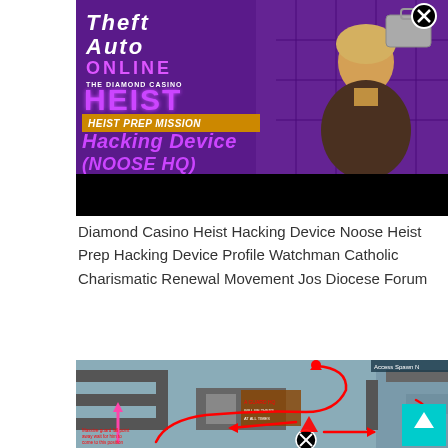[Figure (screenshot): Grand Theft Auto Online: The Diamond Casino Heist promotional image showing 'HEIST PREP MISSION - Hacking Device (NOOSE HQ)' title card with purple background and character looking at lockers, with a close/X button in top right.]
Diamond Casino Heist Hacking Device Noose Heist Prep Hacking Device Profile Watchman Catholic Charismatic Renewal Movement Jos Diocese Forum
[Figure (screenshot): GTA Online map/guide screenshot showing a top-down tactical map view with red and pink arrows indicating movement routes, a guard indicator, and a close/X button, with an Access Spawn label in top right, and a cyan scroll-up button.]